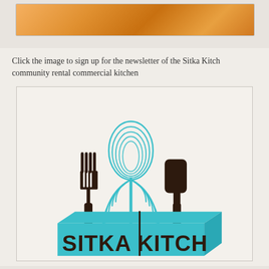[Figure (photo): Warm orange/brown food photo, partially visible at top of page]
Click the image to sign up for the newsletter of the Sitka Kitch community rental commercial kitchen
[Figure (logo): Sitka Kitch logo featuring a fork, whisk, and spatula above a 3D box with 'SITKA KITCH' text in teal and dark brown]